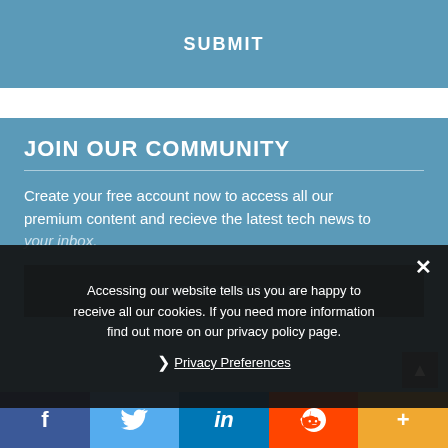SUBMIT
JOIN OUR COMMUNITY
Create your free account now to access all our premium content and recieve the latest tech news to your inbox.
SUBSCRIBE NOW
Accessing our website tells us you are happy to receive all our cookies. If you need more information find out more on our privacy policy page.
Privacy Preferences
LATEST ARTICLES
f  Twitter  in  Reddit  +